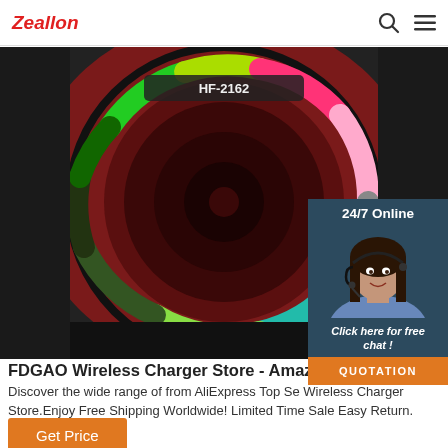Zeallon
[Figure (photo): Close-up photo of a red Bluetooth speaker model HF-2162 with colorful RGB LED ring light (green, yellow, red, pink, blue gradient) around the speaker cone, black housing.]
[Figure (infographic): 24/7 Online chat widget with a customer service agent wearing a headset, with text 'Click here for free chat!' and an orange QUOTATION button.]
FDGAO Wireless Charger Store - Amazing pr
Discover the wide range of from AliExpress Top Se Wireless Charger Store.Enjoy Free Shipping Worldwide! Limited Time Sale Easy Return.
Get Price